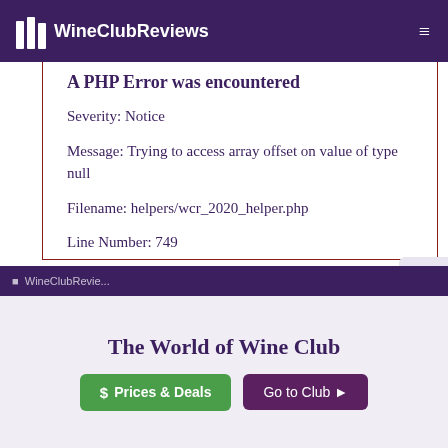WineClubReviews
A PHP Error was encountered
Severity: Notice
Message: Trying to access array offset on value of type null
Filename: helpers/wcr_2020_helper.php
Line Number: 749
The World of Wine Club
$ Prices & Deals
Go to Club →